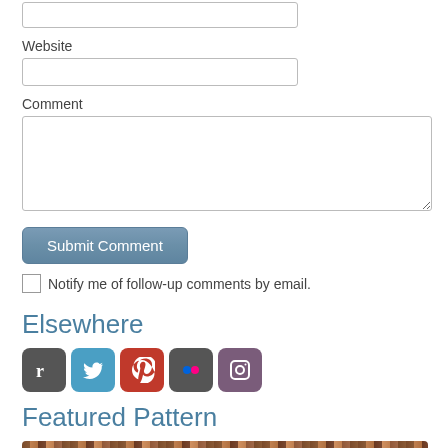Website
Comment
Submit Comment
Notify me of follow-up comments by email.
Elsewhere
[Figure (infographic): Row of five social media icon buttons: Ravelry (r), Twitter, Pinterest, Flickr, Instagram]
Featured Pattern
[Figure (photo): Partial image of colorful knitted or crocheted textile pattern in multicolored yarn]